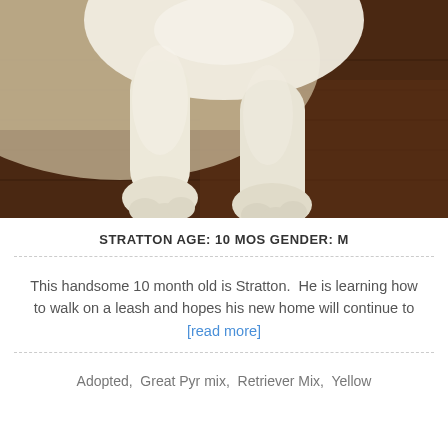[Figure (photo): Close-up photo of a white/cream dog (Great Pyrenees mix) paws and lower body standing on a dark hardwood floor with a light rug in the background.]
STRATTON AGE: 10 MOS GENDER: M
This handsome 10 month old is Stratton.  He is learning how to walk on a leash and hopes his new home will continue to [read more]
Adopted,  Great Pyr mix,  Retriever Mix,  Yellow